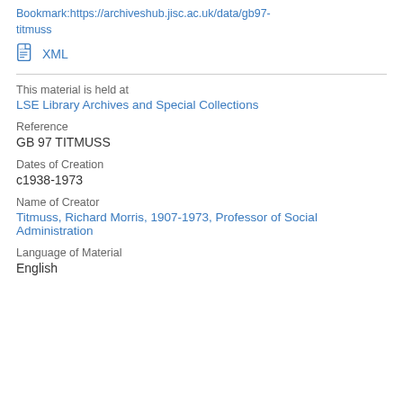Bookmark:https://archiveshub.jisc.ac.uk/data/gb97-titmuss
XML
This material is held at
LSE Library Archives and Special Collections
Reference
GB 97 TITMUSS
Dates of Creation
c1938-1973
Name of Creator
Titmuss, Richard Morris, 1907-1973, Professor of Social Administration
Language of Material
English